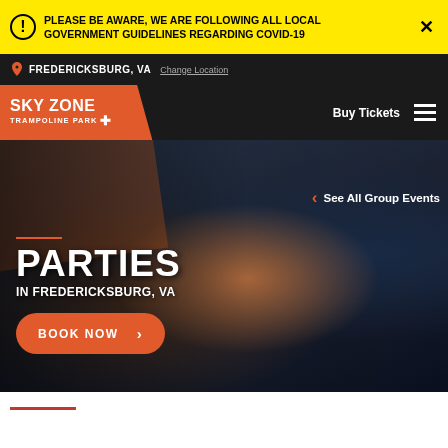PLEASE BE AWARE, WE ARE FOLLOWING ALL LOCAL GOVERNMENT GUIDELINES REGARDING COVID-19
FREDERICKSBURG, VA  Change Location
[Figure (logo): Sky Zone Trampoline Park logo on orange background]
Buy Tickets
See All Group Events
PARTIES
IN FREDERICKSBURG, VA
BOOK NOW